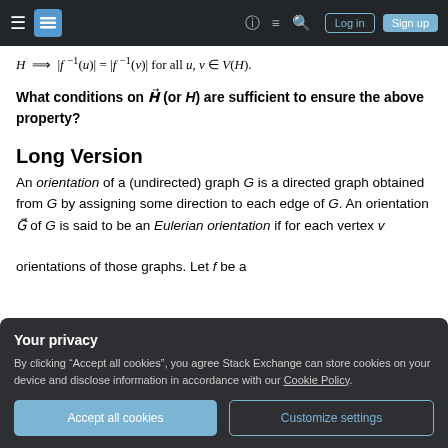Stack Exchange navigation bar with hamburger menu, logo, help, chat, search, Log in, Sign up
What conditions on H-vec (or H) are sufficient to ensure the above property?
Long Version
An orientation of a (undirected) graph G is a directed graph obtained from G by assigning some direction to each edge of G. An orientation G-vec of G is said to be an Eulerian orientation if for each vertex v
orientations of those graphs. Let f be a
Your privacy
By clicking "Accept all cookies", you agree Stack Exchange can store cookies on your device and disclose information in accordance with our Cookie Policy.
Accept all cookies  Customize settings